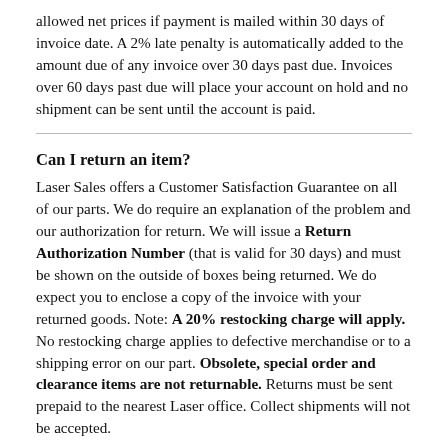allowed net prices if payment is mailed within 30 days of invoice date. A 2% late penalty is automatically added to the amount due of any invoice over 30 days past due. Invoices over 60 days past due will place your account on hold and no shipment can be sent until the account is paid.
Can I return an item?
Laser Sales offers a Customer Satisfaction Guarantee on all of our parts. We do require an explanation of the problem and our authorization for return. We will issue a Return Authorization Number (that is valid for 30 days) and must be shown on the outside of boxes being returned. We do expect you to enclose a copy of the invoice with your returned goods. Note: A 20% restocking charge will apply. No restocking charge applies to defective merchandise or to a shipping error on our part. Obsolete, special order and clearance items are not returnable. Returns must be sent prepaid to the nearest Laser office. Collect shipments will not be accepted.